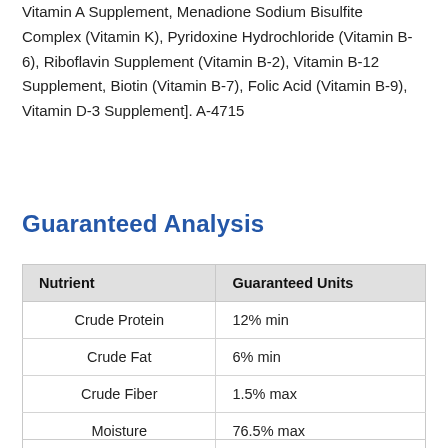Vitamin A Supplement, Menadione Sodium Bisulfite Complex (Vitamin K), Pyridoxine Hydrochloride (Vitamin B-6), Riboflavin Supplement (Vitamin B-2), Vitamin B-12 Supplement, Biotin (Vitamin B-7), Folic Acid (Vitamin B-9), Vitamin D-3 Supplement]. A-4715
Guaranteed Analysis
| Nutrient | Guaranteed Units |
| --- | --- |
| Crude Protein | 12% min |
| Crude Fat | 6% min |
| Crude Fiber | 1.5% max |
| Moisture | 76.5% max |